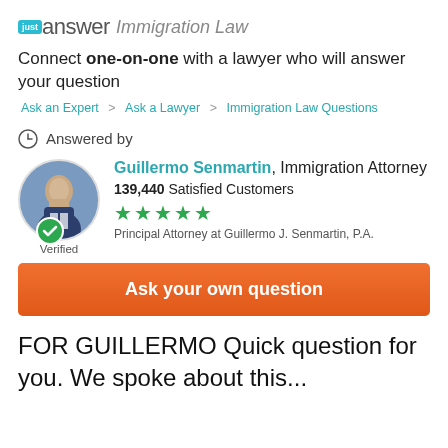[Figure (logo): JustAnswer Immigration Law logo with teal 'just' badge and 'answer' wordmark]
Connect one-on-one with a lawyer who will answer your question
Ask an Expert > Ask a Lawyer > Immigration Law Questions
Answered by
[Figure (photo): Circular headshot photo of Guillermo Senmartin in suit with teal verified checkmark badge]
Guillermo Senmartin, Immigration Attorney
139,440 Satisfied Customers
★★★★★
Principal Attorney at Guillermo J. Senmartin, P.A.
Ask your own question
FOR GUILLERMO Quick question for you. We spoke about this...